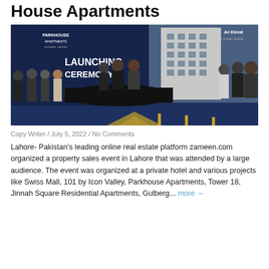House Apartments
[Figure (photo): Group photo at Parkhouse Apartments launching ceremony event in Lahore. People standing around a table in front of a banner that reads PARKHOUSE APARTMENTS GULBERG, LAHORE and LAUNCHING CEREMONY. Building image visible in background.]
Copy Writer / July 5, 2022 / No Comments
Lahore- Pakistan's leading online real estate platform zameen.com organized a property sales event in Lahore that was attended by a large audience. The event was organized at a private hotel and various projects like Swiss Mall, 101 by Icon Valley, Parkhouse Apartments, Tower 18, Jinnah Square Residential Apartments, Gulberg... more →